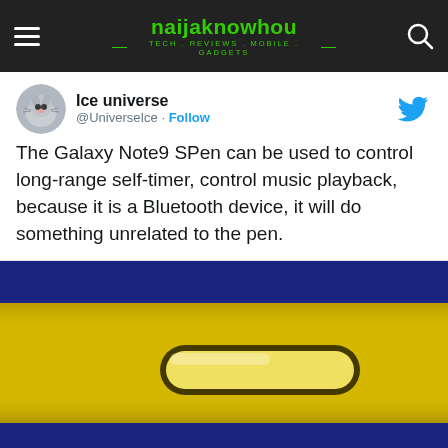naijaknowhou — TECH . REVIEWS . MOBILE . GADGETS —
[Figure (screenshot): Tweet from Ice universe (@UniverseIce) with a Follow button and Twitter bird logo. Tweet text: The Galaxy Note9 SPen can be used to control long-range self-timer, control music playback, because it is a Bluetooth device, it will do something unrelated to the pen.]
[Figure (photo): Close-up image of the Samsung Galaxy Note 9 S Pen slot area showing a yellow/gold colored device with a dark navy blue band at top and bottom, and a rounded rectangular slot cutout in the gold section.]